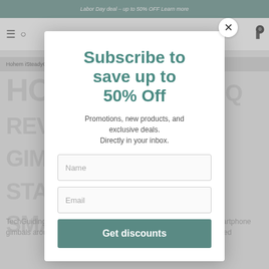Labor Day deal – up to 50% OFF  Learn more
[Figure (screenshot): Website navigation bar with hamburger menu, search icon, and cart icon with badge showing 0]
Hohem iSteadyQ Review – • 8 minutes
HOHEM iSTEADY Q REVIEW – 3-WAY GIMBAL STABILIZER FOR SMARTPHONE
TechGuiding · The Hohem iSteady Q is one of the most versatile smartphone gimbals around. It has so many applications that you might never need
[Figure (screenshot): Email subscription popup modal overlay on a website]
Subscribe to save up to 50% Off
Promotions, new products, and exclusive deals. Directly in your inbox.
Name
Email
Get discounts